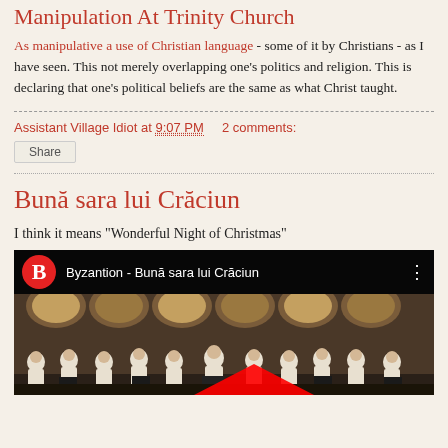Manipulation At Trinity Church
As manipulative a use of Christian language - some of it by Christians - as I have seen. This not merely overlapping one's politics and religion. This is declaring that one's political beliefs are the same as what Christ taught.
Assistant Village Idiot at 9:07 PM   2 comments:
Share
Bună sara lui Crăciun
I think it means "Wonderful Night of Christmas"
[Figure (screenshot): YouTube video thumbnail showing 'Byzantion - Bună sara lui Crăciun' with a red circular B logo, and a choir performing in an ornate church setting with Byzantine-style iconography arches.]